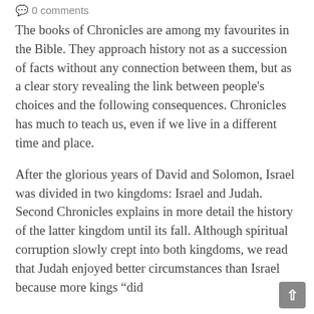0 comments
The books of Chronicles are among my favourites in the Bible. They approach history not as a succession of facts without any connection between them, but as a clear story revealing the link between people’s choices and the following consequences. Chronicles has much to teach us, even if we live in a different time and place.
After the glorious years of David and Solomon, Israel was divided in two kingdoms: Israel and Judah. Second Chronicles explains in more detail the history of the latter kingdom until its fall. Although spiritual corruption slowly crept into both kingdoms, we read that Judah enjoyed better circumstances than Israel because more kings “did